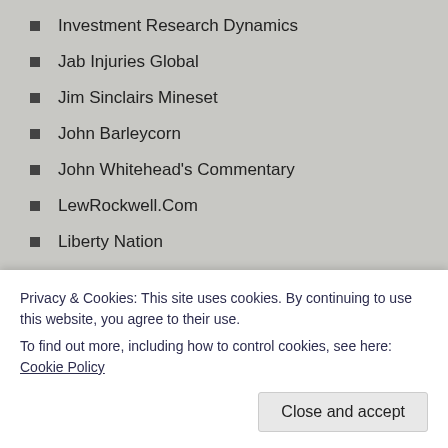Investment Research Dynamics
Jab Injuries Global
Jim Sinclairs Mineset
John Barleycorn
John Whitehead's Commentary
LewRockwell.Com
Liberty Nation
Life Site News
Living Life in Rural Iowa
Margaret Anna Alice Through the Looking Glass
Mase Privatel
Privacy & Cookies: This site uses cookies. By continuing to use this website, you agree to their use. To find out more, including how to control cookies, see here: Cookie Policy
Close and accept